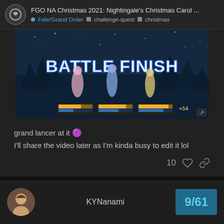FGO NA Christmas 2021: Nightingale's Christmas Carol ... | Fate/Grand Order | challenge-quest | christmas
[Figure (screenshot): Screenshot of Fate/Grand Order mobile game showing BATTLE FINISH screen with three character sprites and HP bars]
grand lancer at it 🟣
I'll share the video later as I'm kinda busy to edit it lol
10 ♡ 🔗
KYNanami
9/61